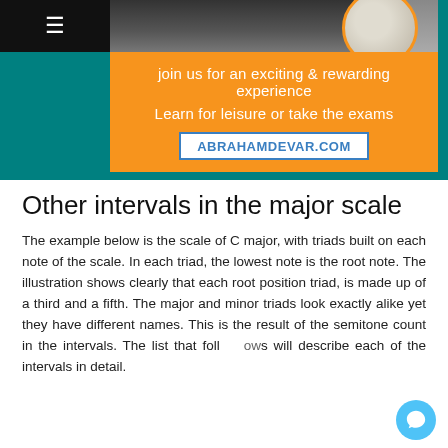[Figure (infographic): Website promotional banner with orange background, teal border, white text inviting users to join for an exciting and rewarding experience, learn for leisure or take exams, and showing the website ABRAHAMDEVAR.COM]
Other intervals in the major scale
The example below is the scale of C major, with triads built on each note of the scale. In each triad, the lowest note is the root note. The illustration shows clearly that each root position triad, is made up of a third and a fifth. The major and minor triads look exactly alike yet they have different names. This is the result of the semitone count in the intervals. The list that follows will describe each of the intervals in detail.